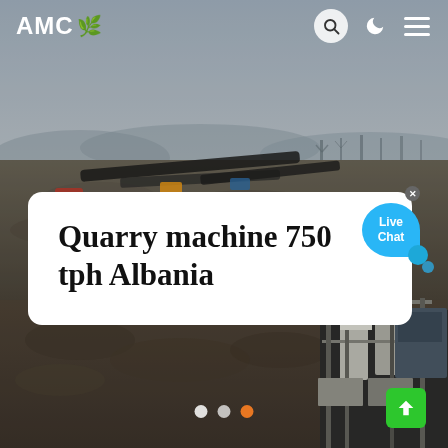[Figure (photo): Aerial drone photograph of a quarry/mining site showing heavy machinery, conveyor belts transporting aggregate materials across a large open area, with industrial crushing and processing equipment visible in the lower right, set against a hazy sky with bare trees in background.]
AMC
Quarry machine 750 tph Albania